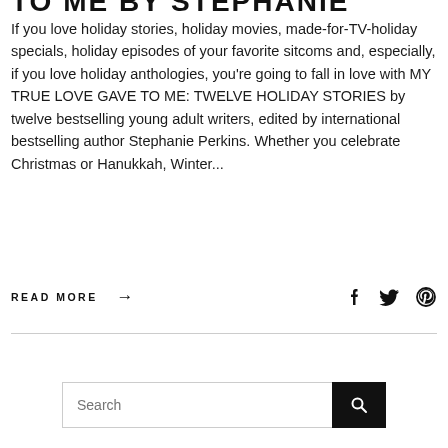TO ME BY STEPHANIE PERKINS
If you love holiday stories, holiday movies, made-for-TV-holiday specials, holiday episodes of your favorite sitcoms and, especially, if you love holiday anthologies, you're going to fall in love with MY TRUE LOVE GAVE TO ME: TWELVE HOLIDAY STORIES by twelve bestselling young adult writers, edited by international bestselling author Stephanie Perkins. Whether you celebrate Christmas or Hanukkah, Winter...
READ MORE →
[Figure (other): Social media icons: Facebook, Twitter, Pinterest]
Search